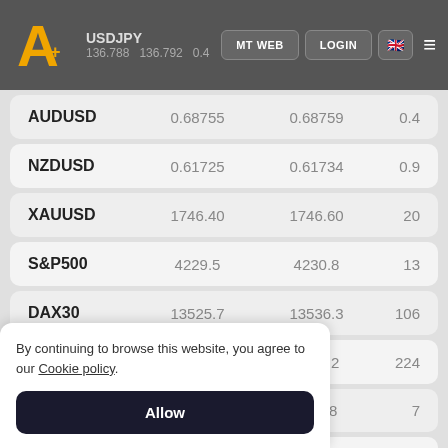USDJPY 136.788 136.792 0.4 | MT WEB | LOGIN
| Symbol | Bid | Ask | Spread |
| --- | --- | --- | --- |
| AUDUSD | 0.68755 | 0.68759 | 0.4 |
| NZDUSD | 0.61725 | 0.61734 | 0.9 |
| XAUUSD | 1746.40 | 1746.60 | 20 |
| S&P500 | 4229.5 | 4230.8 | 13 |
| DAX30 | 13525.7 | 13536.3 | 106 |
| FTSE100 | 7533.8 | 7556.2 | 224 |
| [partial] | [partial] | 33698 | 7 |
| [partial] | [partial] | 13264.36 | 251 |
| [partial] | [partial] | 6995 | 4 |
By continuing to browse this website, you agree to our Cookie policy.
Allow